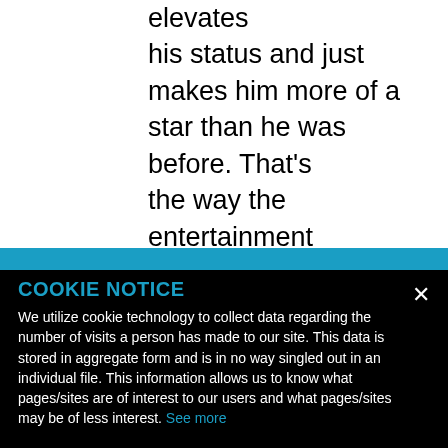elevates his status and just makes him more of a star than he was before. That's the way the entertainment
COOKIE NOTICE
We utilize cookie technology to collect data regarding the number of visits a person has made to our site. This data is stored in aggregate form and is in no way singled out in an individual file. This information allows us to know what pages/sites are of interest to our users and what pages/sites may be of less interest. See more